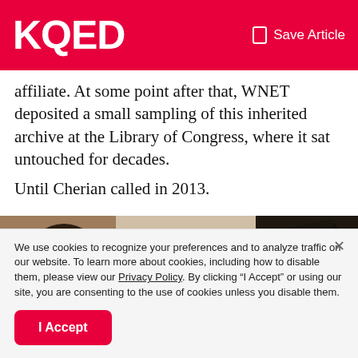KQED  Save Article
affiliate. At some point after that, WNET deposited a small sampling of this inherited archive at the Library of Congress, where it sat untouched for decades.
Until Cherian called in 2013.
[Figure (photo): A still from archival footage showing a person on the left wearing a head wrap and glasses, seated near a wall, and a dark object/figure on the right side.]
We use cookies to recognize your preferences and to analyze traffic on our website. To learn more about cookies, including how to disable them, please view our Privacy Policy. By clicking “I Accept” or using our site, you are consenting to the use of cookies unless you disable them.